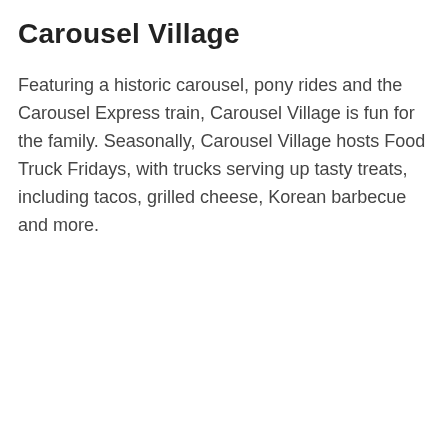Carousel Village
Featuring a historic carousel, pony rides and the Carousel Express train, Carousel Village is fun for the family. Seasonally, Carousel Village hosts Food Truck Fridays, with trucks serving up tasty treats, including tacos, grilled cheese, Korean barbecue and more.